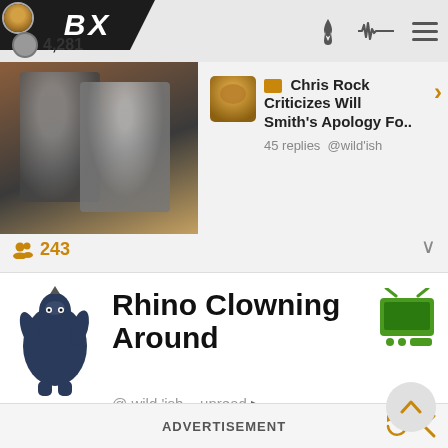BX  4,281
Chris Rock Criticizes Will Smith's Apology Fo..  45 replies @wild'ish
243
Rhino Clowning Around
@ wild 'ish   unread ▶
1  0 of 'em goons
ADVERTISEMENT